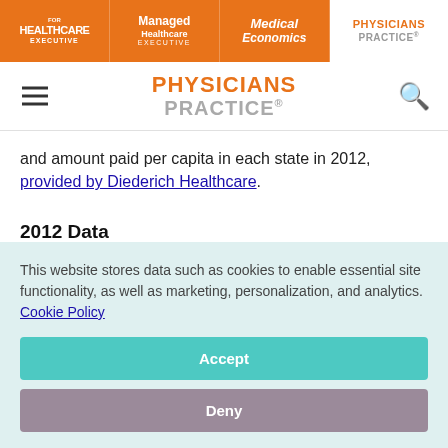FOR HEALTHCARE EXECUTIVE | Managed Healthcare EXECUTIVE | Medical Economics | PHYSICIANS PRACTICE
[Figure (logo): Physicians Practice logo with hamburger menu and search icon]
and amount paid per capita in each state in 2012, provided by Diederich Healthcare.
2012 Data
This website stores data such as cookies to enable essential site functionality, as well as marketing, personalization, and analytics. Cookie Policy
Accept
Deny